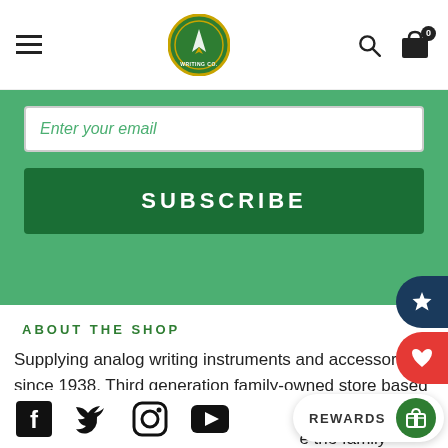Navigation bar with hamburger menu, logo, search icon, and cart (0 items)
Enter your email
SUBSCRIBE
ABOUT THE SHOP
Supplying analog writing instruments and accessories since 1938. Third generation family-owned store based in Little Rock, Arkansas. Mike was trained by his grandfather, dad, and uncle to continue the family business of all things pens, inks, and paper.
[Figure (other): Social media icons row: Facebook, Twitter, Instagram, YouTube]
REWARDS